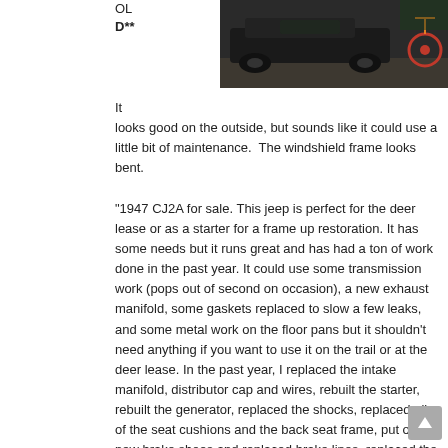OL
D**
[Figure (photo): Photo of a jeep/vehicle on a garage floor, partially visible, with a bicycle or colorful object visible on the right side.]
It looks good on the outside, but sounds like it could use a little bit of maintenance.  The windshield frame looks bent.
"1947 CJ2A for sale. This jeep is perfect for the deer lease or as a starter for a frame up restoration. It has some needs but it runs great and has had a ton of work done in the past year. It could use some transmission work (pops out of second on occasion), a new exhaust manifold, some gaskets replaced to slow a few leaks, and some metal work on the floor pans but it shouldn't need anything if you want to use it on the trail or at the deer lease. In the past year, I replaced the intake manifold, distributor cap and wires, rebuilt the starter, rebuilt the generator, replaced the shocks, replaced all of the seat cushions and the back seat frame, put on new brake shoes and replaced brake lines, replaced the brake master cylinder, rewired most of the jeep, replaced the gas tank and fuel hose to the carburetor, stripped off all of the old paint and gave it a garage paint job for protection. It starts right up every time and runs great for a 1947"